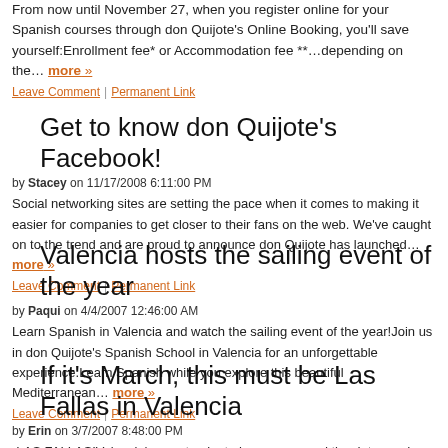From now until November 27, when you register online for your Spanish courses through don Quijote's Online Booking, you'll save yourself:Enrollment fee* or Accommodation fee **…depending on the… more »
Leave Comment | Permanent Link
Get to know don Quijote's Facebook!
by Stacey on 11/17/2008 6:11:00 PM
Social networking sites are setting the pace when it comes to making it easier for companies to get closer to their fans on the web. We've caught on to the trend and are proud to announce don Quijote has launched… more »
Leave Comment | Permanent Link
Valencia hosts the sailing event of the year
by Paqui on 4/4/2007 12:46:00 AM
Learn Spanish in Valencia and watch the sailing event of the year!Join us in don Quijote's Spanish School in Valencia for an unforgettable experience.Learn Spanish while you explore this beautiful Mediterranean… more »
Leave Comment | Permanent Link
If it's March, this must be Las Fallas in Valencia
by Erin on 3/7/2007 8:48:00 PM
¡LAS FALLAS!Valencia's ayuntamiento has announced the dates and events for this year's Las Fallas celebrations!You can read more about Las Fallas in this post, and you can download a PDF with photos,… more »